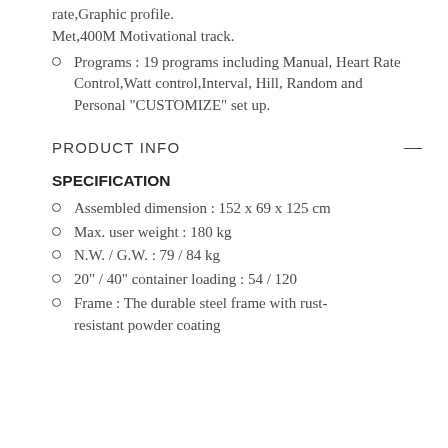rate,Graphic profile. Met,400M Motivational track.
Programs : 19 programs including Manual, Heart Rate Control,Watt control,Interval, Hill, Random and Personal "CUSTOMIZE" set up.
PRODUCT INFO
SPECIFICATION
Assembled dimension : 152 x 69 x 125 cm
Max. user weight : 180 kg
N.W. / G.W. : 79 / 84 kg
20" / 40" container loading : 54 / 120
Frame : The durable steel frame with rust-resistant powder coating